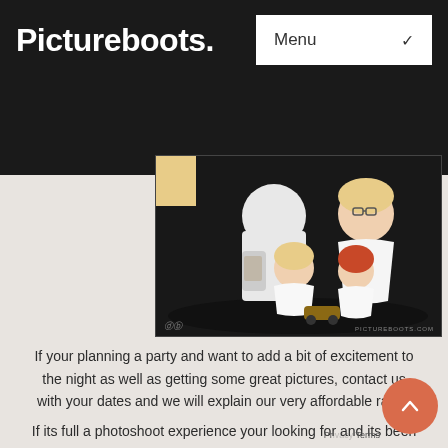Pictureboots.
[Figure (photo): Family studio portrait: man in white t-shirt, woman with blonde hair and glasses, two young children, one boy with a toy car, dark studio background with 'pictureboots.com' watermark]
If your planning a party and want to add a bit of excitement to the night as well as getting some great pictures, contact us with your dates and we will explain our very affordable rates.
If its full a photoshoot experience your looking for and its been too many years since you've last had that family photo taken, contact us and we can